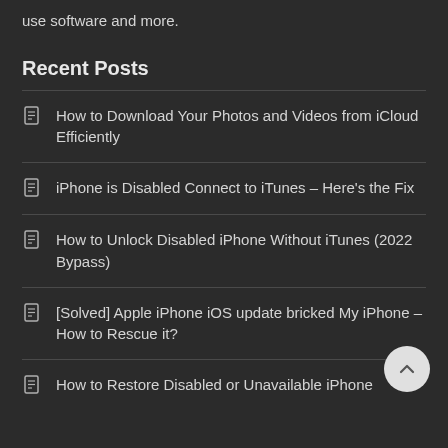use software and more.
Recent Posts
How to Download Your Photos and Videos from iCloud Efficiently
iPhone is Disabled Connect to iTunes – Here's the Fix
How to Unlock Disabled iPhone Without iTunes (2022 Bypass)
[Solved] Apple iPhone iOS update bricked My iPhone – How to Rescue it?
How to Restore Disabled or Unavailable iPhone